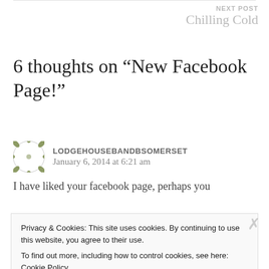NEXT POST
Chilling Cold
6 thoughts on “New Facebook Page!”
LODGEHOUSEBANDBSOMERSET
January 6, 2014 at 6:21 am
I have liked your facebook page, perhaps you
Privacy & Cookies: This site uses cookies. By continuing to use this website, you agree to their use.
To find out more, including how to control cookies, see here: Cookie Policy
Close and accept